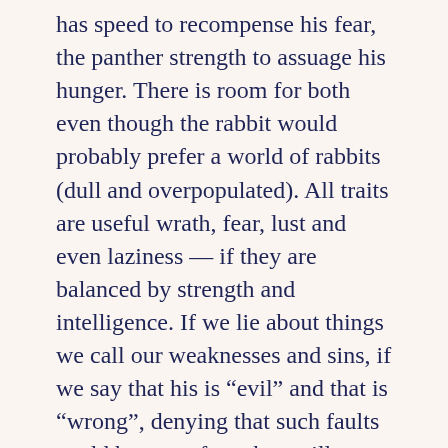has speed to recompense his fear, the panther strength to assuage his hunger. There is room for both even though the rabbit would probably prefer a world of rabbits (dull and overpopulated). All traits are useful wrath, fear, lust and even laziness — if they are balanced by strength and intelligence. If we lie about things we call our weaknesses and sins, if we say that his is “evil” and that is “wrong”, denying that such faults could be part of us, they will grow crooked in the dark. But when we have them out in the open; admitting them, facing them and accepting them, then we will be ashamed to leave any vestige of them secret to turn crippled and twisted.